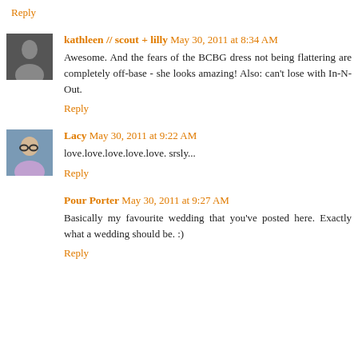Reply
kathleen // scout + lilly  May 30, 2011 at 8:34 AM
Awesome. And the fears of the BCBG dress not being flattering are completely off-base - she looks amazing! Also: can't lose with In-N-Out.
Reply
Lacy  May 30, 2011 at 9:22 AM
love.love.love.love.love. srsly...
Reply
Pour Porter  May 30, 2011 at 9:27 AM
Basically my favourite wedding that you've posted here. Exactly what a wedding should be. :)
Reply